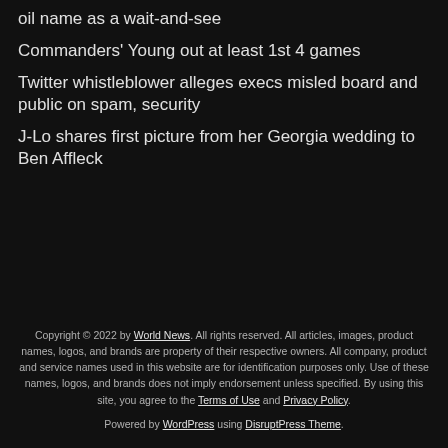oil name as a wait-and-see
Commanders' Young out at least 1st 4 games
Twitter whistleblower alleges execs misled board and public on spam, security
J-Lo shares first picture from her Georgia wedding to Ben Affleck
Copyright © 2022 by World News. All rights reserved. All articles, images, product names, logos, and brands are property of their respective owners. All company, product and service names used in this website are for identification purposes only. Use of these names, logos, and brands does not imply endorsement unless specified. By using this site, you agree to the Terms of Use and Privacy Policy.
Powered by WordPress using DisruptPress Theme.